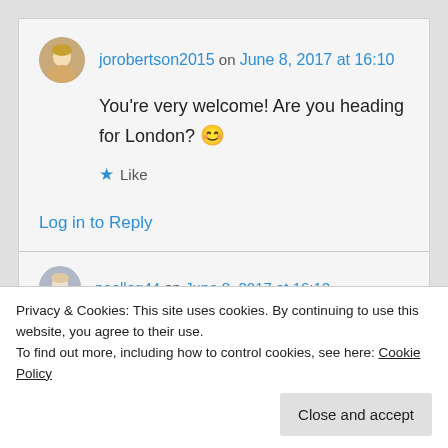jorobertson2015 on June 8, 2017 at 16:10
You're very welcome! Are you heading for London? 😊
★ Like
Log in to Reply
noelleg44 on June 8, 2017 at 16:12
Privacy & Cookies: This site uses cookies. By continuing to use this website, you agree to their use.
To find out more, including how to control cookies, see here: Cookie Policy
Close and accept